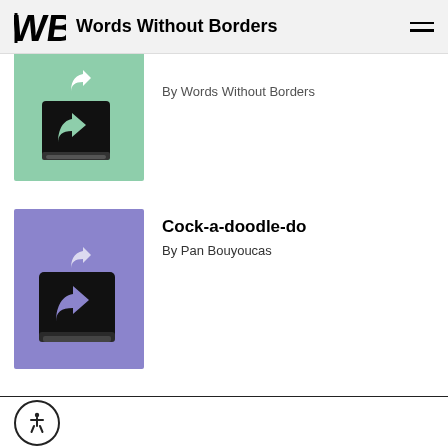Words Without Borders
By Words Without Borders
[Figure (illustration): Green square thumbnail with black book icon featuring a share/forward arrow, with BETA badge in upper left corner]
Cock-a-doodle-do
By Pan Bouyoucas
[Figure (illustration): Purple/lavender square thumbnail with black book icon featuring a share/forward arrow]
Accessibility button